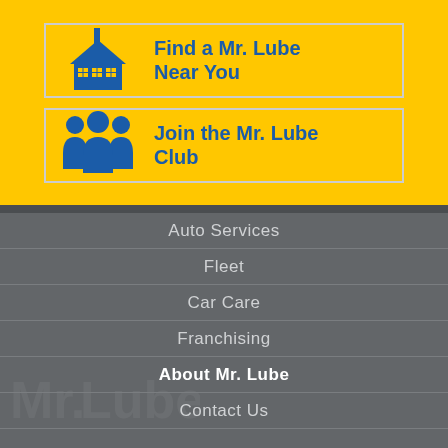[Figure (illustration): Yellow background section with two clickable cards: 'Find a Mr. Lube Near You' with a building/shop icon, and 'Join the Mr. Lube Club' with a group of people icon]
Find a Mr. Lube Near You
Join the Mr. Lube Club
Auto Services
Fleet
Car Care
Franchising
About Mr. Lube
Contact Us